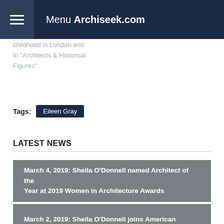Menu Archiseek.com
childhood in London and
In "Architects & Historical Figures"
Tags: Eileen Gray
LATEST NEWS
March 4, 2019: Sheila O'Donnell named Architect of the Year at 2019 Women in Architecture Awards
March 2, 2019: Sheila O'Donnell joins American Academy of Arts and Letters